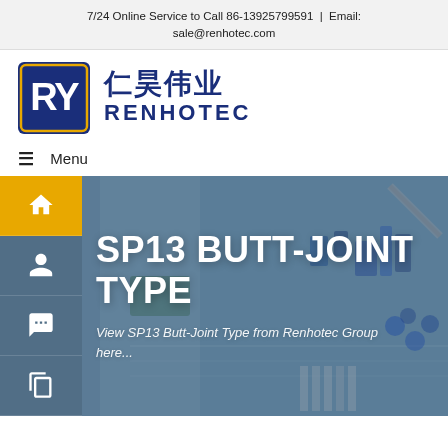7/24 Online Service to Call 86-13925799591 | Email: sale@renhotec.com
[Figure (logo): Renhotec company logo with RY monogram in blue/gold square and Chinese characters 仁昊伟业 with RENHOTEC text]
≡  Menu
[Figure (photo): Hero image showing a circuit board/electronics manufacturing scene with sidebar navigation icons (home, person, chat, copy) and overlay text 'SP13 BUTT-JOINT TYPE' and subtitle 'View SP13 Butt-Joint Type from Renhotec Group here...']
SP13 BUTT-JOINT TYPE
View SP13 Butt-Joint Type from Renhotec Group here...